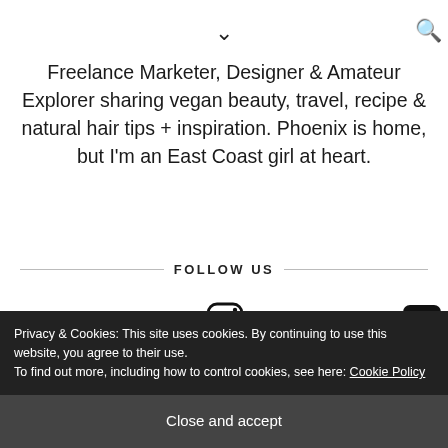[Figure (other): Chevron down icon and search icon in top navigation bar]
Freelance Marketer, Designer & Amateur Explorer sharing vegan beauty, travel, recipe & natural hair tips + inspiration. Phoenix is home, but I'm an East Coast girl at heart.
FOLLOW US
[Figure (infographic): Social media icons: Facebook, Twitter, Instagram, Pinterest, YouTube]
Privacy & Cookies: This site uses cookies. By continuing to use this website, you agree to their use.
To find out more, including how to control cookies, see here: Cookie Policy
Close and accept